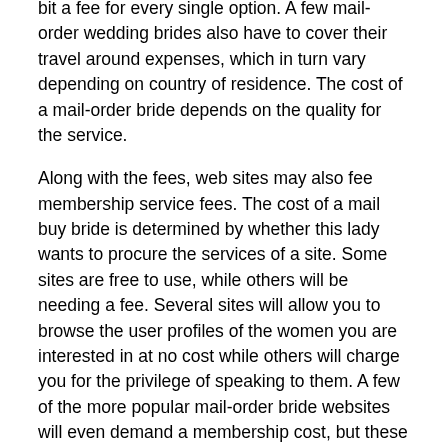bit a fee for every single option. A few mail-order wedding brides also have to cover their travel around expenses, which in turn vary depending on country of residence. The cost of a mail-order bride depends on the quality for the service.
Along with the fees, web sites may also fee membership service fees. The cost of a mail buy bride is determined by whether this lady wants to procure the services of a site. Some sites are free to use, while others will be needing a fee. Several sites will allow you to browse the user profiles of the women you are interested in at no cost while others will charge you for the privilege of speaking to them. A few of the more popular mail-order bride websites will even demand a membership cost, but these are the exceptions, certainly not the norm.
Once you have signed up for a mail-order bride